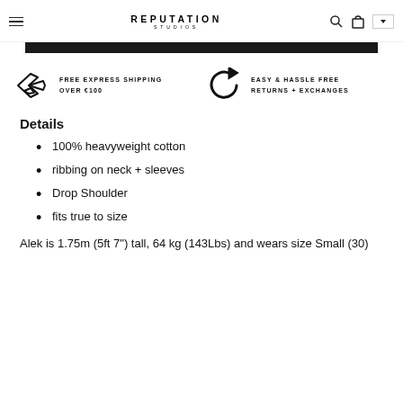REPUTATION STUDIOS
[Figure (infographic): Free express shipping over €100 icon (airplane) and Easy & Hassle Free Returns + Exchanges icon (circular arrow)]
Details
100% heavyweight cotton
ribbing on neck + sleeves
Drop Shoulder
fits true to size
Alek is 1.75m (5ft 7") tall, 64 kg (143Lbs) and wears size Small (30)